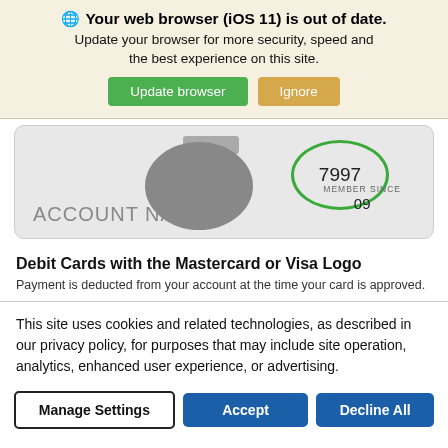Your web browser (iOS 11) is out of date. Update your browser for more security, speed and the best experience on this site.
[Figure (screenshot): Browser out-of-date notification banner with Update browser (green) and Ignore (tan) buttons]
[Figure (screenshot): Partial credit/debit card image showing account number 7997, MEMBER SINCE 09, and ACCOUNT NAME text on gray card background]
Debit Cards with the Mastercard or Visa Logo
Payment is deducted from your account at the time your card is approved.
This site uses cookies and related technologies, as described in our privacy policy, for purposes that may include site operation, analytics, enhanced user experience, or advertising.
[Figure (screenshot): Cookie consent banner with Manage Settings, Accept, and Decline All buttons]